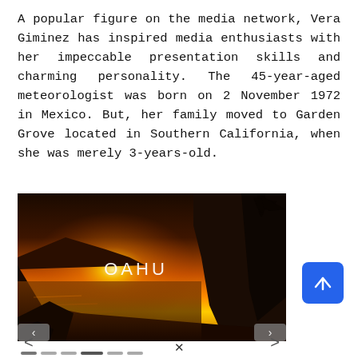A popular figure on the media network, Vera Giminez has inspired media enthusiasts with her impeccable presentation skills and charming personality. The 45-year-aged meteorologist was born on 2 November 1972 in Mexico. But, her family moved to Garden Grove located in Southern California, when she was merely 3-years-old.
[Figure (photo): Sunset landscape photo showing orange sky over ocean cliffs with text 'OAHU' overlaid in white, with navigation arrows and dot indicators below]